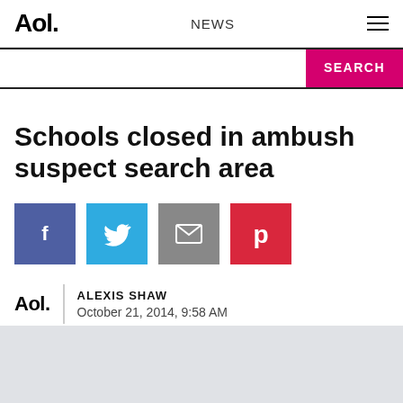Aol. NEWS
Schools closed in ambush suspect search area
[Figure (other): Social sharing buttons: Facebook (blue), Twitter (light blue), Email (gray), Pinterest (red)]
ALEXIS SHAW
October 21, 2014, 9:58 AM